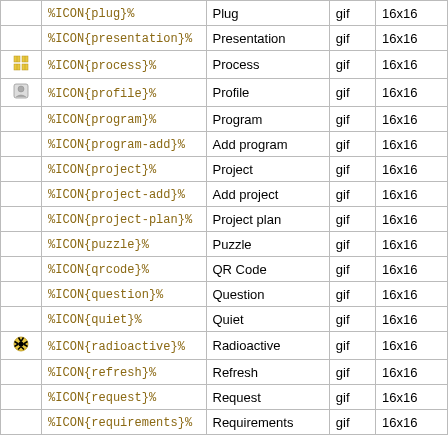|  | Code | Name | Type | Size |
| --- | --- | --- | --- | --- |
|  | %ICON{plug}% | Plug | gif | 16x16 |
|  | %ICON{presentation}% | Presentation | gif | 16x16 |
| [process icon] | %ICON{process}% | Process | gif | 16x16 |
| [profile icon] | %ICON{profile}% | Profile | gif | 16x16 |
|  | %ICON{program}% | Program | gif | 16x16 |
|  | %ICON{program-add}% | Add program | gif | 16x16 |
|  | %ICON{project}% | Project | gif | 16x16 |
|  | %ICON{project-add}% | Add project | gif | 16x16 |
|  | %ICON{project-plan}% | Project plan | gif | 16x16 |
|  | %ICON{puzzle}% | Puzzle | gif | 16x16 |
|  | %ICON{qrcode}% | QR Code | gif | 16x16 |
|  | %ICON{question}% | Question | gif | 16x16 |
|  | %ICON{quiet}% | Quiet | gif | 16x16 |
| [radioactive icon] | %ICON{radioactive}% | Radioactive | gif | 16x16 |
|  | %ICON{refresh}% | Refresh | gif | 16x16 |
|  | %ICON{request}% | Request | gif | 16x16 |
|  | %ICON{requirements}% | Requirements | gif | 16x16 |